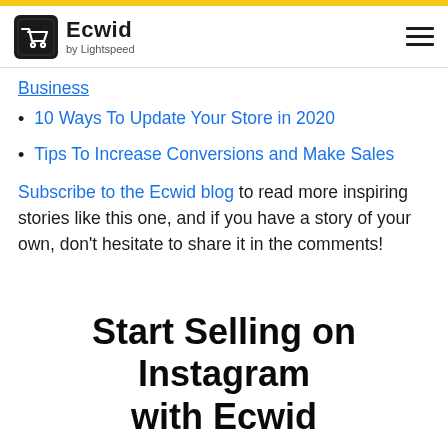Ecwid by Lightspeed
Business
10 Ways To Update Your Store in 2020
Tips To Increase Conversions and Make Sales
Subscribe to the Ecwid blog to read more inspiring stories like this one, and if you have a story of your own, don't hesitate to share it in the comments!
Start Selling on Instagram with Ecwid